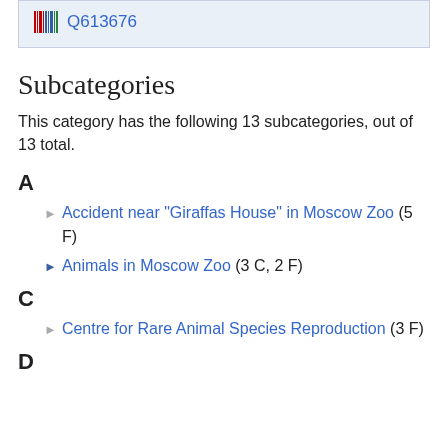[Figure (other): Wikidata barcode icon with link Q613676 on light blue background]
Subcategories
This category has the following 13 subcategories, out of 13 total.
A
Accident near "Giraffas House" in Moscow Zoo (5 F)
Animals in Moscow Zoo (3 C, 2 F)
C
Centre for Rare Animal Species Reproduction (3 F)
D